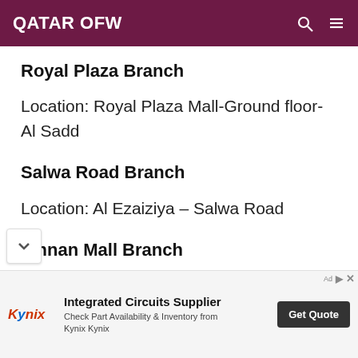QATAR OFW
Royal Plaza Branch
Location: Royal Plaza Mall-Ground floor-Al Sadd
Salwa Road Branch
Location: Al Ezaiziya – Salwa Road
athnan Mall Branch
[Figure (screenshot): Advertisement banner for Kynix integrated circuits supplier with Get Quote button]